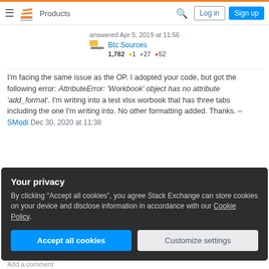Stack Overflow navbar with Products, Log in, Sign up
answered Apr 5, 2019 at 11:56 — Btc Sources — 1,782 ●1 ●27 ●52
I'm facing the same issue as the OP. I adopted your code, but got the following error: AttributeError: 'Workbook' object has no attribute 'add_format'. I'm writing into a test xlsx worbook that has three tabs including the one I'm writing into. No other formatting added. Thanks. – SModi Dec 30, 2020 at 11:38
I think you're having a problem with the selected engine. Check this other question:
Your privacy
By clicking "Accept all cookies", you agree Stack Exchange can store cookies on your device and disclose information in accordance with our Cookie Policy.
Accept all cookies  Customize settings